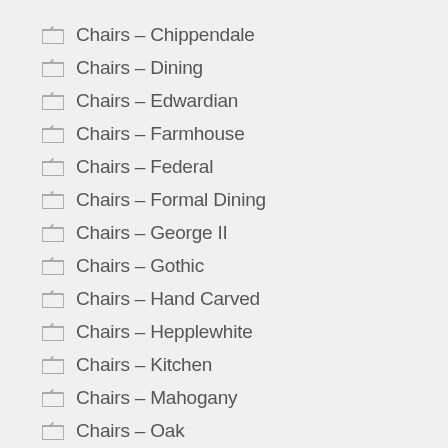Chairs – Chippendale
Chairs – Dining
Chairs – Edwardian
Chairs – Farmhouse
Chairs – Federal
Chairs – Formal Dining
Chairs – George II
Chairs – Gothic
Chairs – Hand Carved
Chairs – Hepplewhite
Chairs – Kitchen
Chairs – Mahogany
Chairs – Oak